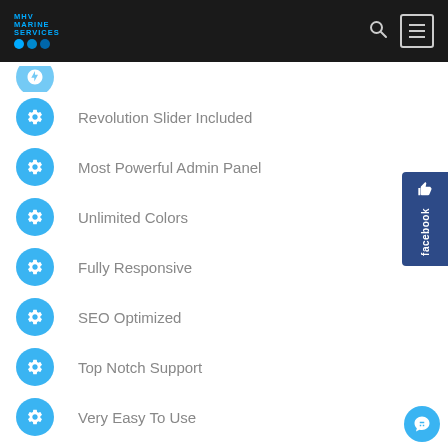MHV Marine Services — navigation header with logo, search, and menu
Revolution Slider Included
Most Powerful Admin Panel
Unlimited Colors
Fully Responsive
SEO Optimized
Top Notch Support
Very Easy To Use
Most Advanced Page Builder
Revolution Slider Included